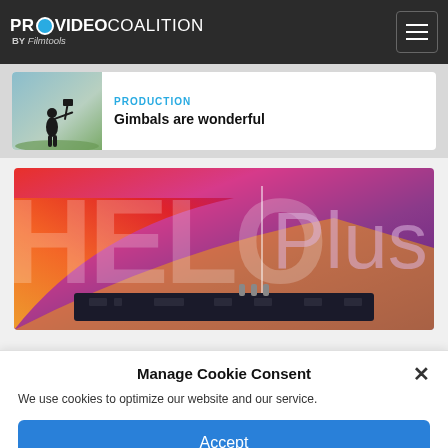PROVIDEO COALITION BY Filmtools
[Figure (screenshot): Article card thumbnail showing a silhouette of a person with a gimbal against a sky background]
PRODUCTION
Gimbals are wonderful
[Figure (illustration): HELO Plus product banner with colorful gradient background (red, orange, yellow, purple) and the text 'HELO | Plus' with a hardware device at the bottom]
Manage Cookie Consent
We use cookies to optimize our website and our service.
Accept